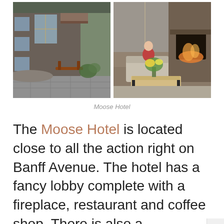[Figure (photo): Two side-by-side photos of Moose Hotel: left photo shows the stone exterior of the hotel with a wooden bench and paved walkway; right photo shows the hotel lobby interior with a stone fireplace, a person sitting on a sofa, and a live-edge wooden coffee table with a flower arrangement.]
Moose Hotel
The Moose Hotel is located close to all the action right on Banff Avenue. The hotel has a fancy lobby complete with a fireplace, restaurant and coffee shop. There is also a beautiful...